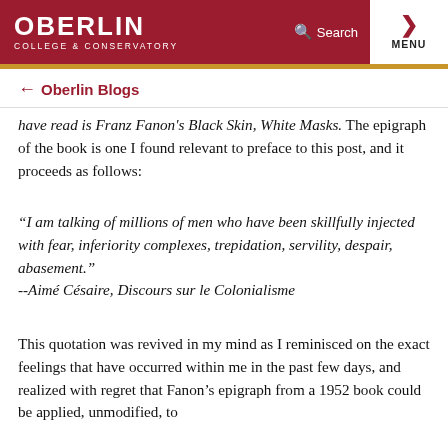OBERLIN COLLEGE & CONSERVATORY — Search — MENU
Oberlin Blogs
have read is Franz Fanon's Black Skin, White Masks. The epigraph of the book is one I found relevant to preface to this post, and it proceeds as follows:
"I am talking of millions of men who have been skillfully injected with fear, inferiority complexes, trepidation, servility, despair, abasement." --Aimé Césaire, Discours sur le Colonialisme
This quotation was revived in my mind as I reminisced on the exact feelings that have occurred within me in the past few days, and realized with regret that Fanon's epigraph from a 1952 book could be applied, unmodified, to